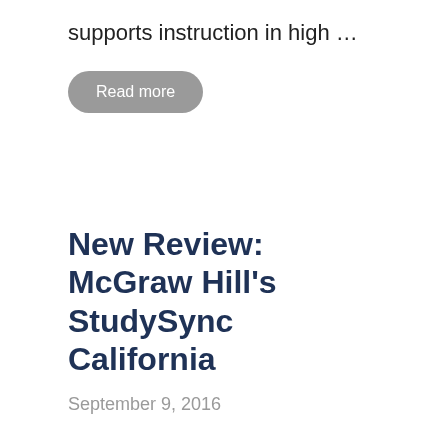supports instruction in high …
Read more
New Review: McGraw Hill's StudySync California
September 9, 2016
Learning List has reviewed McGraw Hill's StudySync California. This comprehensive resource addresses California's English language arts (ELA) and English